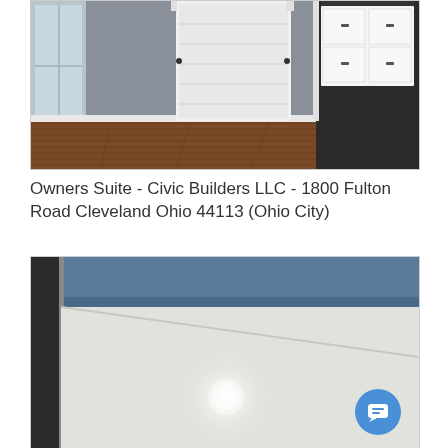[Figure (photo): Interior room photo showing gray painted walls, white barn-style door in center, hardwood flooring, white cabinetry with dark hardware visible on the right side, and a window on the left.]
Owners Suite - Civic Builders LLC - 1800 Fulton Road Cleveland Ohio 44113 (Ohio City)
[Figure (photo): Interior photo showing ceiling and upper wall area with blue-painted crown molding/trim detail at top, white ceiling with a recessed light fixture illuminated, and a doorframe visible on the left.]